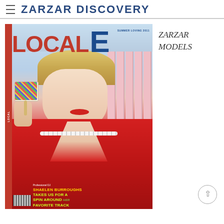ZARZAR DISCOVERY
[Figure (photo): Magazine cover of LOCALE magazine, Summer Loving 2011 issue. A blonde female model in a red jacket holding a colorful sprinkle-covered popsicle, wearing a pearl necklace, with a pink picket fence background. Text at bottom: Professional DJ SHAELEN BURROUGHS TAKES US FOR A SPIN AROUND HER FAVORITE TRACK]
ZARZAR MODELS